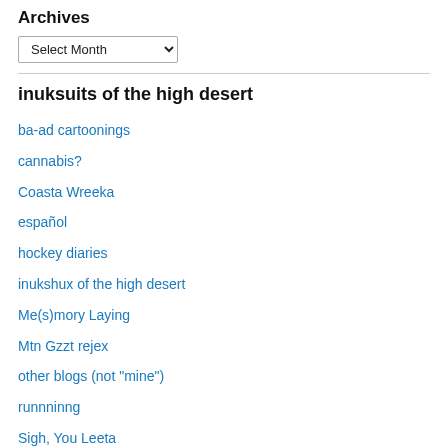Archives
Select Month (dropdown)
inuksuits of the high desert
ba-ad cartoonings
cannabis?
Coasta Wreeka
español
hockey diaries
inukshux of the high desert
Me(s)mory Laying
Mtn Gzzt rejex
other blogs (not "mine")
runnninng
Sigh, You Leeta
Uncategorized